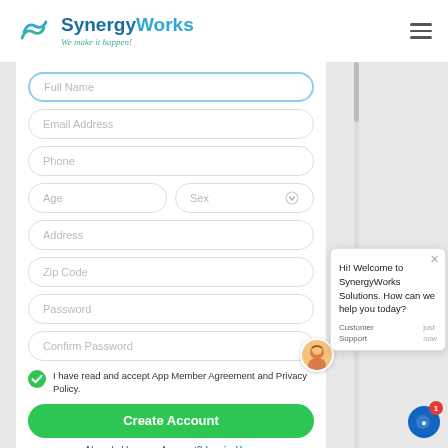[Figure (logo): SynergyWorks logo with teal wave icon and tagline 'We make it happen!']
[Figure (screenshot): Registration form with fields: Full Name, Email Address, Phone, Age, Sex (dropdown), Address, Zip Code, Password, Confirm Password, checkbox for App Member Agreement and Privacy Policy, Create Account button, and Already Have an Account? Login Here link]
Hi! Welcome to SynergyWorks Solutions. How can we help you today?
Customer Support  just now
Already Have an Account? Login Here